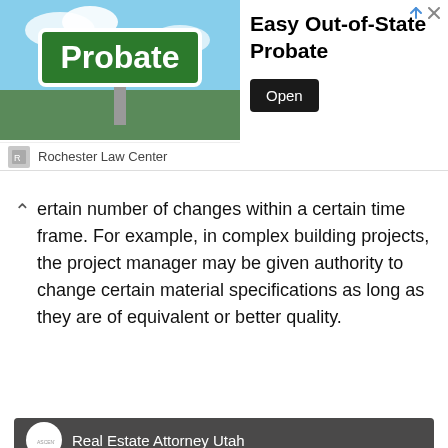[Figure (screenshot): Advertisement banner for 'Easy Out-of-State Probate' from Rochester Law Center, featuring a green street sign reading 'Probate' against a blue sky background, with an 'Open' button.]
ertain number of changes within a certain time frame. For example, in complex building projects, the project manager may be given authority to change certain material specifications as long as they are of equivalent or better quality.
[Figure (screenshot): YouTube video thumbnail for 'Real Estate Attorney Utah' by Ascent Law, showing large text 'REAL ESTATE ATTORNEY UTAH' with a YouTube play button overlaid, 'FREE CONSULTATION' text and phone number '801-676-5506' at bottom.]